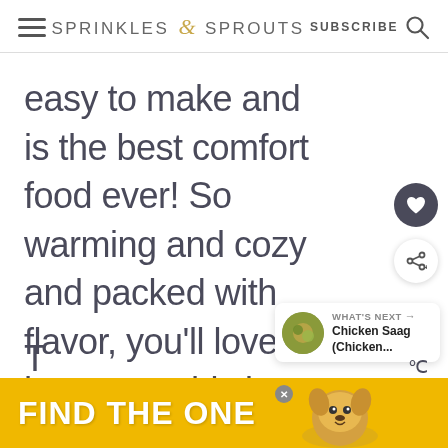Sprinkles & Sprouts | SUBSCRIBE
easy to make and is the best comfort food ever! So warming and cozy and packed with flavor, you'll love how easy this is.
[Figure (other): What's Next widget showing Chicken Saag (Chicken...) with food thumbnail]
[Figure (other): Advertisement banner: FIND THE ONE with dog image]